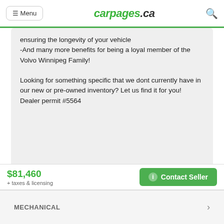Menu | carpages.ca
ensuring the longevity of your vehicle -And many more benefits for being a loyal member of the Volvo Winnipeg Family!

Looking for something specific that we dont currently have in our new or pre-owned inventory? Let us find it for you!
Dealer permit #5564
$81,460
+ taxes & licensing
Contact Seller
MECHANICAL